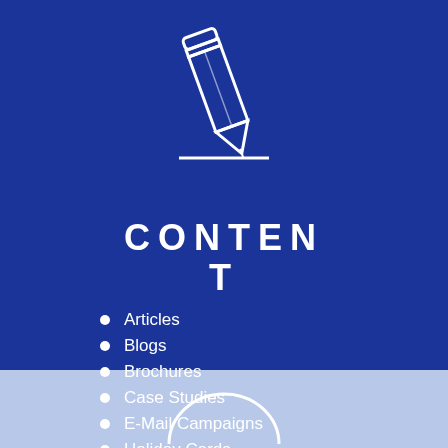[Figure (illustration): White outline pencil icon with a horizontal line beneath it, on dark blue background]
CONTENT
Articles
Blogs
Brochures
Case Studies
E-Mail Campaigns
Holiday Cards
Newsletters
Presentations
Websites